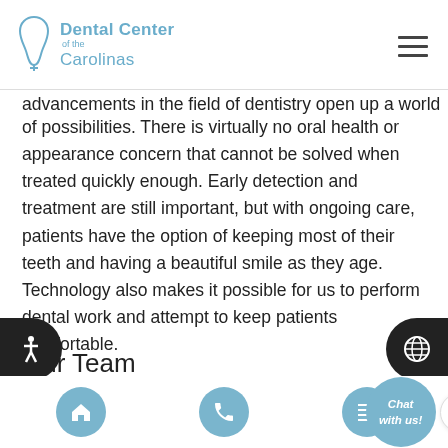Dental Center of the Carolinas
advancements in the field of dentistry open up a world of possibilities. There is virtually no oral health or appearance concern that cannot be solved when treated quickly enough. Early detection and treatment are still important, but with ongoing care, patients have the option of keeping most of their teeth and having a beautiful smile as they age. Technology also makes it possible for us to perform dental work and attempt to keep patients comfortable.
Our Team
We work as a team to keep patients throughout